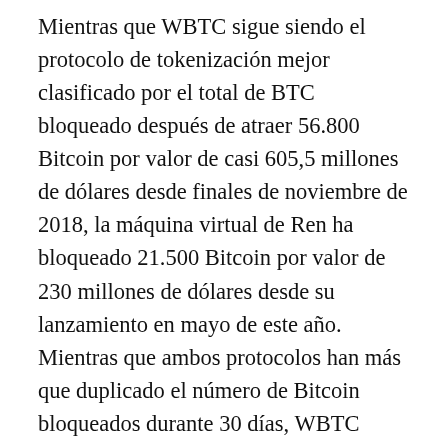Mientras que WBTC sigue siendo el protocolo de tokenización mejor clasificado por el total de BTC bloqueado después de atraer 56.800 Bitcoin por valor de casi 605,5 millones de dólares desde finales de noviembre de 2018, la máquina virtual de Ren ha bloqueado 21.500 Bitcoin por valor de 230 millones de dólares desde su lanzamiento en mayo de este año. Mientras que ambos protocolos han más que duplicado el número de Bitcoin bloqueados durante 30 días, WBTC continúa atrayendo un mayor volumen de BTC que Ren, pasando de aproximadamente 28.360 BTC a 56.850 BTC, mientras que RenBTC se expandió de 10.000 BTC a 21.510 en un mes.